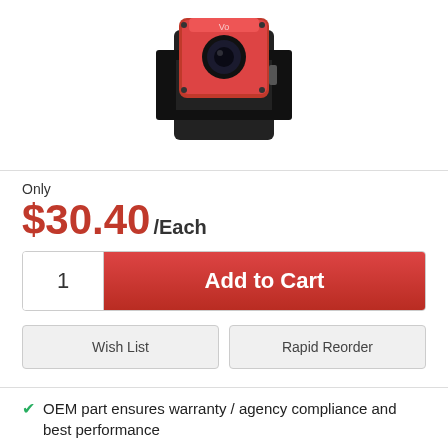[Figure (photo): Product photo of a small red and black camera module with mounting bracket]
Only
$30.40/Each
1
Add to Cart
Wish List
Rapid Reorder
OEM part ensures warranty / agency compliance and best performance
UPC Code: 400014486010